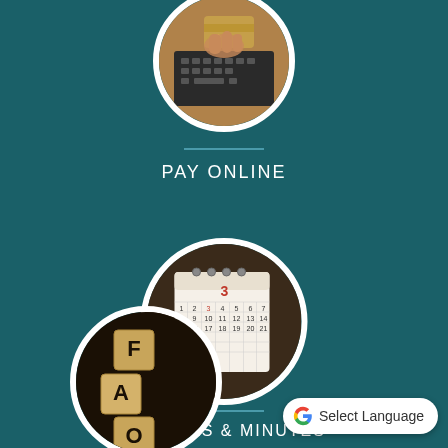[Figure (photo): Circular photo of hands typing on laptop/using credit card, with white circular border, on teal background — top of page]
PAY ONLINE
[Figure (photo): Circular photo of a wall calendar, with white circular border, on teal background — middle of page]
AGENDAS & MINUTES
[Figure (photo): Circular photo of wooden letter blocks spelling FAQ, with white circular border, on teal background — bottom of page]
[Figure (logo): Google Translate widget with Google G logo and 'Select Language' text in white rounded pill shape, bottom right corner]